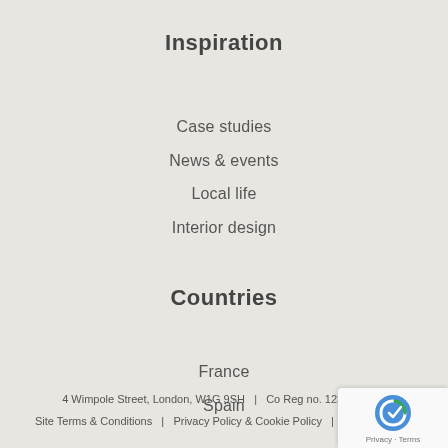Inspiration
Case studies
News & events
Local life
Interior design
Countries
France
Spain
4 Wimpole Street, London, W1G 9SH  |  Co Reg no. 12381615  |
Site Terms & Conditions  |  Privacy Policy & Cookie Policy  |  My acco